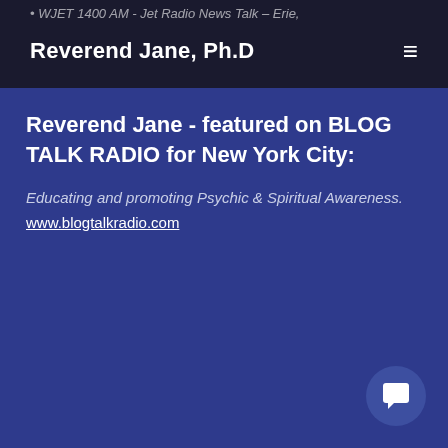WJET 1400 AM - Jet Radio News Talk – Erie,
Reverend Jane, Ph.D
Reverend Jane - featured on BLOG TALK RADIO for New York City:
Educating and promoting Psychic & Spiritual Awareness.
www.blogtalkradio.com